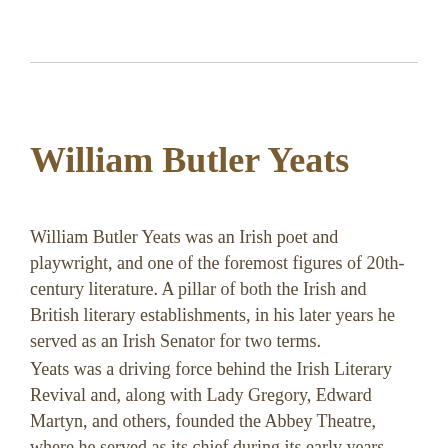William Butler Yeats
William Butler Yeats was an Irish poet and playwright, and one of the foremost figures of 20th-century literature. A pillar of both the Irish and British literary establishments, in his later years he served as an Irish Senator for two terms.
Yeats was a driving force behind the Irish Literary Revival and, along with Lady Gregory, Edward Martyn, and others, founded the Abbey Theatre, where he served as its chief during its early years.